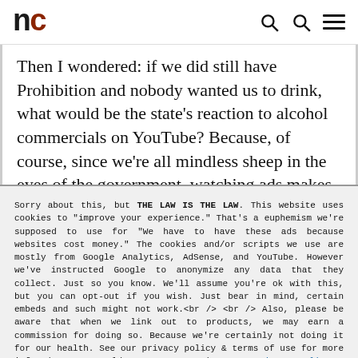nc
Then I wondered: if we did still have Prohibition and nobody wanted us to drink, what would be the state's reaction to alcohol commercials on YouTube? Because, of course, since we're all mindless sheep in the eyes of the government, watching ads makes us
Sorry about this, but THE LAW IS THE LAW. This website uses cookies to "improve your experience." That's a euphemism we're supposed to use for "We have to have these ads because websites cost money." The cookies and/or scripts we use are mostly from Google Analytics, AdSense, and YouTube. However we've instructed Google to anonymize any data that they collect. Just so you know. We'll assume you're ok with this, but you can opt-out if you wish. Just bear in mind, certain embeds and such might not work.<br /> <br /> Also, please be aware that when we link out to products, we may earn a commission for doing so. Because we're certainly not doing it for our health. See our privacy policy & terms of use for more info than you would ever want to know. - Privacy Policy & Terms of Use